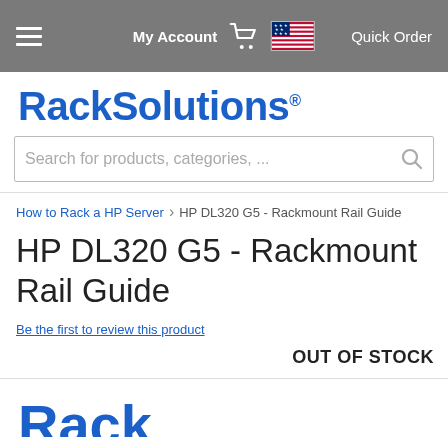My Account  Quick Order
[Figure (logo): RackSolutions logo in blue bold text]
Search for products, categories, ...
How to Rack a HP Server > HP DL320 G5 - Rackmount Rail Guide
HP DL320 G5 - Rackmount Rail Guide
Be the first to review this product
OUT OF STOCK
[Figure (logo): Partial RackSolutions logo visible at bottom of page]